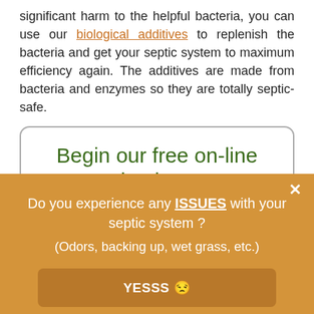significant harm to the helpful bacteria, you can use our biological additives to replenish the bacteria and get your septic system to maximum efficiency again. The additives are made from bacteria and enzymes so they are totally septic-safe.
Begin our free on-line evaluation now
Do you experience any ISSUES with your septic system ? (Odors, backing up, wet grass, etc.)
YESSS 😒
No